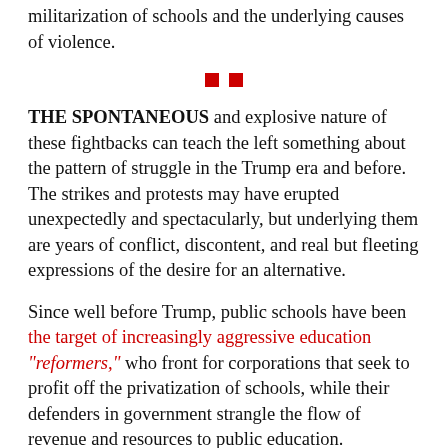militarization of schools and the underlying causes of violence.
[Figure (other): Two small red squares as a decorative separator]
THE SPONTANEOUS and explosive nature of these fightbacks can teach the left something about the pattern of struggle in the Trump era and before. The strikes and protests may have erupted unexpectedly and spectacularly, but underlying them are years of conflict, discontent, and real but fleeting expressions of the desire for an alternative.
Since well before Trump, public schools have been the target of increasingly aggressive education "reformers," who front for corporations that seek to profit off the privatization of schools, while their defenders in government strangle the flow of revenue and resources to public education.
The Trump administration's Education Secretary